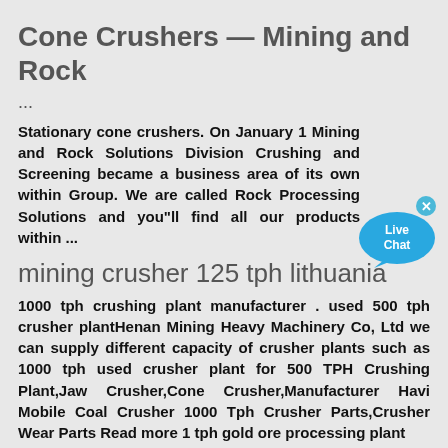Cone Crushers — Mining and Rock
...
Stationary cone crushers. On January 1 Mining and Rock Solutions Division Crushing and Screening became a business area of its own within Group. We are called Rock Processing Solutions and you"ll find all our products within ...
[Figure (illustration): Live Chat button — a blue speech bubble with 'Live Chat' text and a close (x) icon]
mining crusher 125 tph lithuania
1000 tph crushing plant manufacturer . used 500 tph crusher plantHenan Mining Heavy Machinery Co, Ltd we can supply different capacity of crusher plants such as 1000 tph used crusher plant for 500 TPH Crushing Plant,Jaw Crusher,Cone Crusher,Manufacturer Havi Mobile Coal Crusher 1000 Tph Crusher Parts,Crusher Wear Parts Read more 1 tph gold ore processing plant
125 tph ne crusher prices